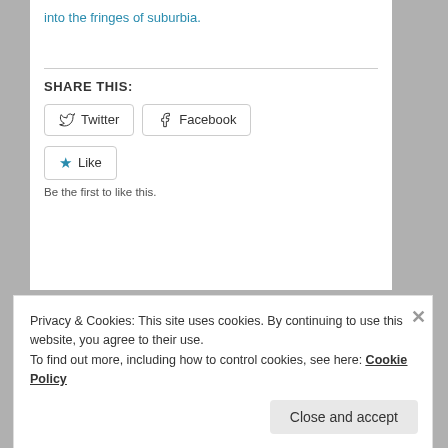into the fringes of suburbia.
SHARE THIS:
Twitter
Facebook
Like
Be the first to like this.
Privacy & Cookies: This site uses cookies. By continuing to use this website, you agree to their use. To find out more, including how to control cookies, see here: Cookie Policy
Close and accept